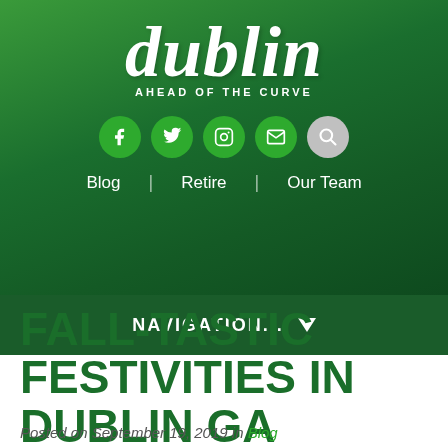[Figure (logo): Dublin 'Ahead of the Curve' city logo with social media icons (Facebook, Twitter, Instagram, Email, Search), navigation links (Blog, Retire, Our Team), and a dark green NAVIGATION dropdown bar, all on a green gradient banner background.]
FALL-TASTIC FESTIVITIES IN DUBLIN GA
Posted on September 19, 2019 in Blog